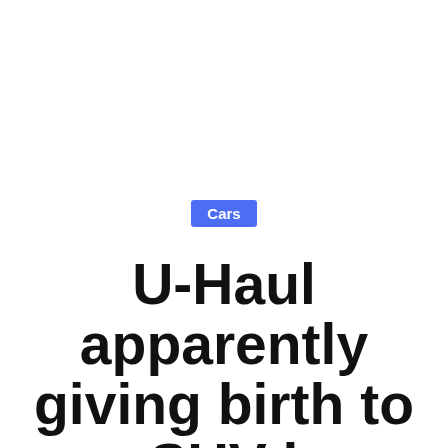Cars
U-Haul apparently giving birth to an SUV has turned out to